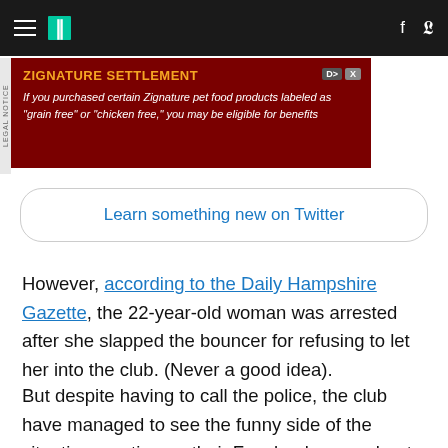HuffPost navigation bar with hamburger menu, II logo, Facebook and Twitter icons
[Figure (other): Advertisement banner: ZIGNATURE SETTLEMENT - If you purchased certain Zignature pet food products labeled as 'grain free' or 'chicken free,' you may be eligible for benefits]
Learn something new on Twitter
However, according to the Daily Hampshire Gazette, the 22-year-old woman was arrested after she slapped the bouncer for refusing to let her into the club. (Never a good idea).
But despite having to call the police, the club have managed to see the funny side of the situation, posting on their Facebook page about